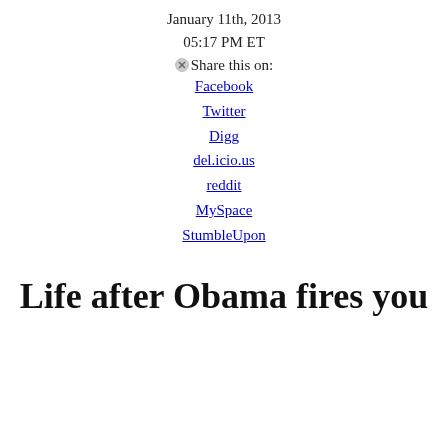January 11th, 2013
05:17 PM ET
Share this on:
Facebook
Twitter
Digg
del.icio.us
reddit
MySpace
StumbleUpon
Life after Obama fires you